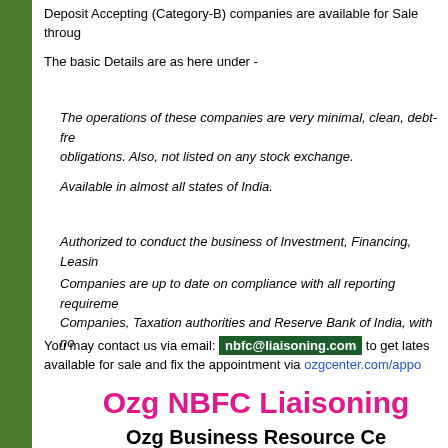Deposit Accepting (Category-B) companies are available for Sale through
The basic Details are as here under -
The operations of these companies are very minimal, clean, debt-free obligations. Also, not listed on any stock exchange.
Available in almost all states of India.
Authorized to conduct the business of Investment, Financing, Leasing
Companies are up to date on compliance with all reporting requirements Companies, Taxation authorities and Reserve Bank of India, with no
You may contact us via email: nbfc@liaisoning.com to get latest available for sale and fix the appointment via ozgcenter.com/appo
Ozg NBFC Liaisoning
Ozg Business Resource Ce